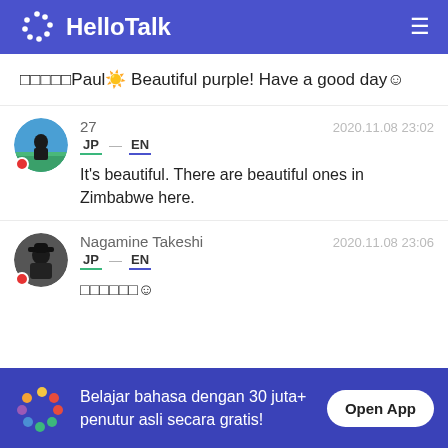HelloTalk
□□□□□Paul☀ Beautiful purple! Have a good day☺
27  2020.11.08 23:02
JP → EN
It's beautiful. There are beautiful ones in Zimbabwe here.
Nagamine Takeshi  2020.11.08 23:06
JP → EN
□□□□□□☺
Belajar bahasa dengan 30 juta+ penutur asli secara gratis!